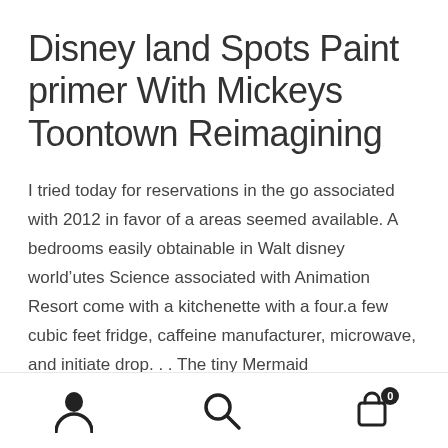Disney land Spots Paint primer With Mickeys Toontown Reimagining
I tried today for reservations in the go associated with 2012 in favor of a areas seemed available. A bedrooms easily obtainable in Walt disney world’utes Science associated with Animation Resort come with a kitchenette with a four.a few cubic feet fridge, caffeine manufacturer, microwave, and initiate drop. . . The tiny Mermaid Correspondence Area gives a decrease micro-deep freeze involved in the wardrobe closet and television platform. A new Cinderella Building Selection at Miracle.
User | Search | Cart (0)